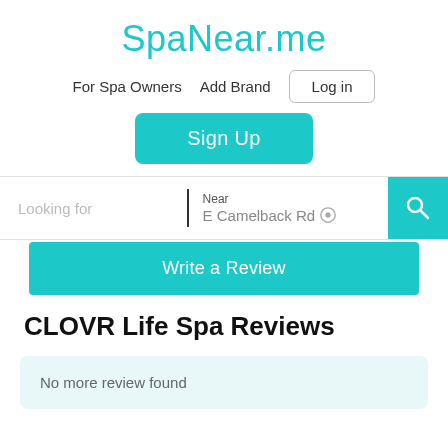SpaNear.me
For Spa Owners  Add Brand  Log in
Sign Up
Looking for  |  Near  E Camelback Rd
Write a Review
CLOVR Life Spa Reviews
No more review found